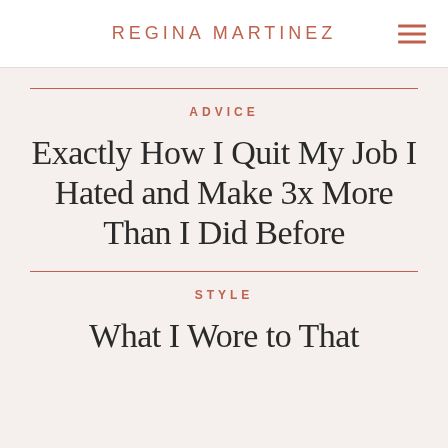REGINA MARTINEZ
ADVICE
Exactly How I Quit My Job I Hated and Make 3x More Than I Did Before
STYLE
What I Wore to That